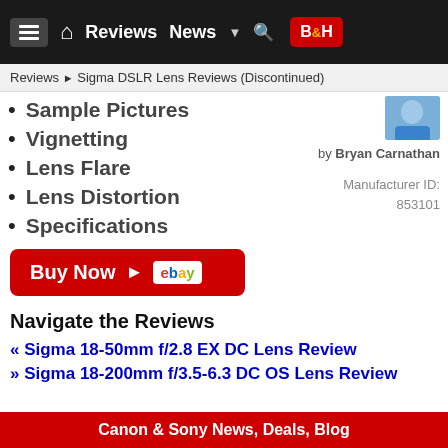Reviews News B&H [navigation bar]
Reviews ▶ Sigma DSLR Lens Reviews (Discontinued)
Sample Pictures
Vignetting
Lens Flare
Lens Distortion
Specifications
by Bryan Carnathan
Manufacturer ID: 853101
[Figure (other): Buy Now button with eBay logo]
Navigate the Reviews
« Sigma 18-50mm f/2.8 EX DC Lens Review
» Sigma 18-200mm f/3.5-6.3 DC OS Lens Review
Canon & Sony News, Deals, Blog